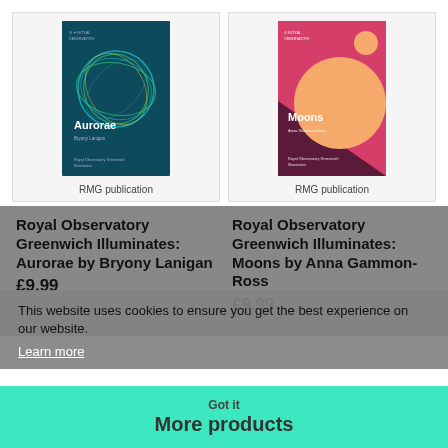[Figure (illustration): Book cover for Aurorae by Bryony Lanigan, Royal Observatory Greenwich, dark teal with circular aurora pattern]
RMG publication
[Figure (illustration): Book cover for Moons by Anna Gammon-Ross, Royal Observatory Greenwich, pink/magenta with large peach circle]
RMG publication
Royal Observatory Greenwich Illuminates: Aurorae by Bryony Lanigan
£9.99
Royal Observatory Greenwich Illuminates: Moons by Anna Gammon-Ross
£9.99
This website uses cookies to ensure you get the best experience on our website.
Learn more
Got it
More products